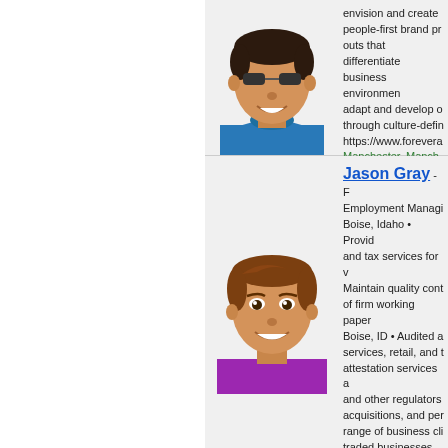[Figure (illustration): Partial blue circle on left edge of page]
[Figure (illustration): Avatar illustration of a man with dark hair wearing a blue turtleneck, smiling]
envision and create people-first brand pro outs that differentiate business environmen adapt and develop o through culture-defin https://www.forevera Manchester, Manche
[Figure (illustration): Avatar illustration of a man with brown hair wearing a purple shirt, smiling]
Jason Gray - F Employment Managi Boise, Idaho • Provid and tax services for v Maintain quality cont of firm working paper Boise, ID • Audited a services, retail, and t attestation services a and other regulators acquisitions, and per range of business cli traded businesses. P Building Material Ho and Yukon Kuskokwi – Pocatello, ID B.S., GENERAL BUSINES Licenses • Member o Idaho • SCORE volu Boise, Idaho, United